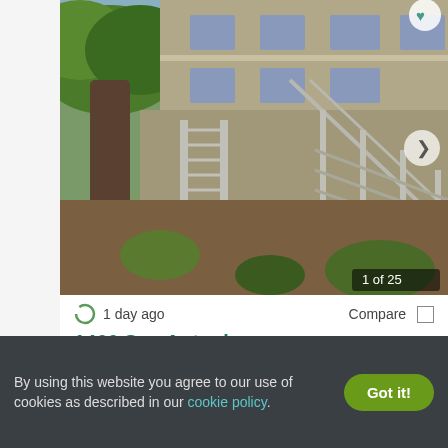[Figure (photo): Exterior photo of a two-story apartment building with metal staircase railings and a large tree in the foreground, taken on a sunny day. Counter shows 1 of 25.]
1 day ago
Compare
1466 San Antonio
1466 San Antonio Avenue, Menlo Park, CA 94025
Available
Verified
2 BEDS
By using this website you agree to our use of cookies as described in our cookie policy.